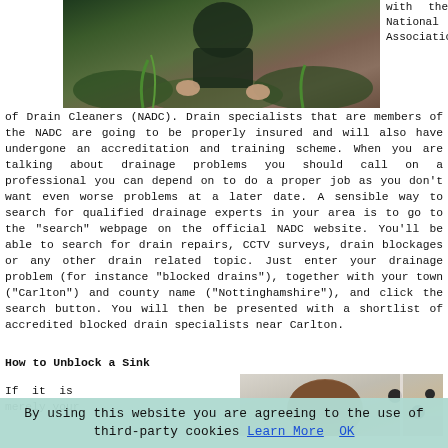[Figure (photo): Person working on a drain outdoors, hands visible near soil and green foliage]
with the National Association of Drain Cleaners (NADC). Drain specialists that are members of the NADC are going to be properly insured and will also have undergone an accreditation and training scheme. When you are talking about drainage problems you should call on a professional you can depend on to do a proper job as you don't want even worse problems at a later date. A sensible way to search for qualified drainage experts in your area is to go to the "search" webpage on the official NADC website. You'll be able to search for drain repairs, CCTV surveys, drain blockages or any other drain related topic. Just enter your drainage problem (for instance "blocked drains"), together with your town ("Carlton") and county name ("Nottinghamshire"), and click the search button. You will then be presented with a shortlist of accredited blocked drain specialists near Carlton.
How to Unblock a Sink
If it is merely your
[Figure (photo): Person leaning over a sink, viewed from above]
By using this website you are agreeing to the use of third-party cookies Learn More OK